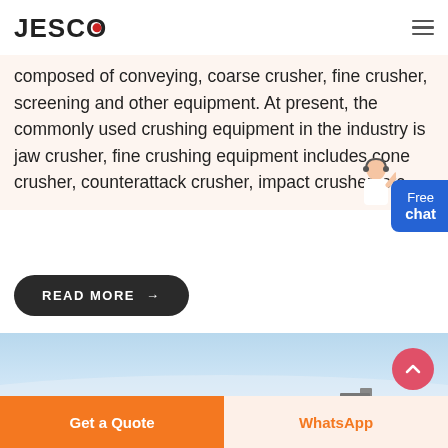JESCO
composed of conveying, coarse crusher, fine crusher, screening and other equipment. At present, the commonly used crushing equipment in the industry is jaw crusher, fine crushing equipment includes cone crusher, counterattack crusher, impact crusher, etc.
[Figure (illustration): Customer support representative figure near Free chat button]
[Figure (illustration): Free chat button - blue rounded rectangle with text 'Free chat']
[Figure (other): READ MORE button with arrow, dark rounded pill shape]
[Figure (photo): Industrial equipment/machinery photo with blue sky background, partially visible]
[Figure (other): Scroll to top circular button, pink/red with upward chevron]
Get a Quote
WhatsApp